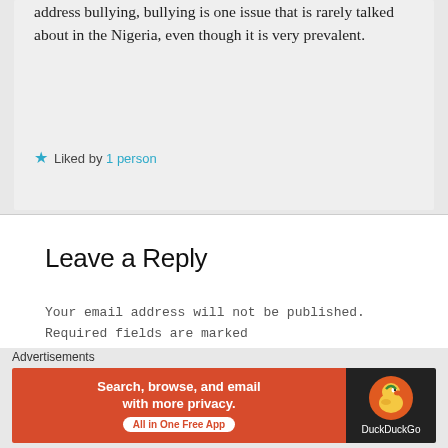address bullying, bullying is one issue that is rarely talked about in the Nigeria, even though it is very prevalent.
Liked by 1 person
Leave a Reply
Your email address will not be published. Required fields are marked
Advertisements
[Figure (screenshot): DuckDuckGo advertisement banner: orange/red background on left with text 'Search, browse, and email with more privacy. All in One Free App' and dark background on right with DuckDuckGo duck logo and brand name.]